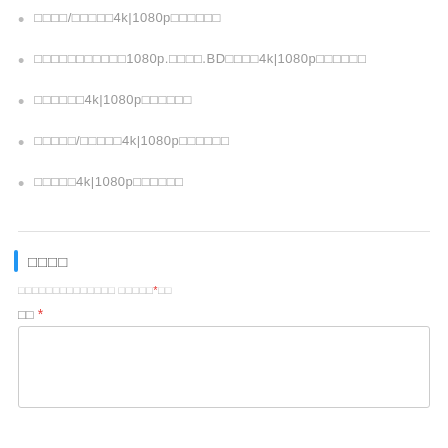□□□□/□□□□□4k|1080p□□□□□□
□□□□□□□□□□□1080p.□□□□.BD□□□□4k|1080p□□□□□□
□□□□□□4k|1080p□□□□□□
□□□□□/□□□□□4k|1080p□□□□□□
□□□□□4k|1080p□□□□□□
□□□□
□□□□□□□□□□□□□□ □□□□□*□□
□□ *